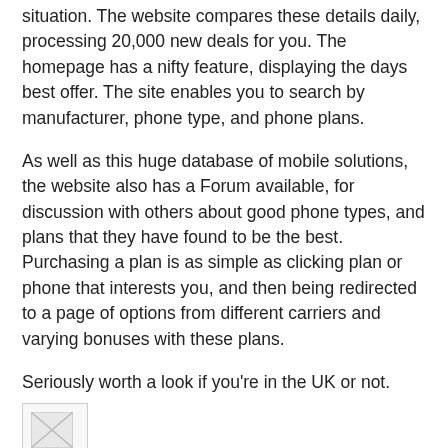situation. The website compares these details daily, processing 20,000 new deals for you. The homepage has a nifty feature, displaying the days best offer. The site enables you to search by manufacturer, phone type, and phone plans.
As well as this huge database of mobile solutions, the website also has a Forum available, for discussion with others about good phone types, and plans that they have found to be the best. Purchasing a plan is as simple as clicking plan or phone that interests you, and then being redirected to a page of options from different carriers and varying bonuses with these plans.
Seriously worth a look if you're in the UK or not.
[Figure (photo): Broken/missing image placeholder (image failed to load)]
Liam Webb at 4:34 pm   4 comments:
How do you spell CRIMINAL